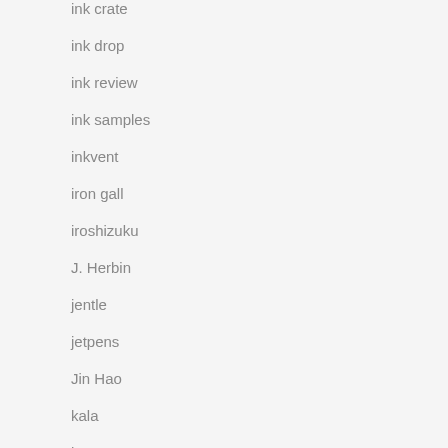ink crate
ink drop
ink review
ink samples
inkvent
iron gall
iroshizuku
J. Herbin
jentle
jetpens
Jin Hao
kala
kaweco
Kenro
kickstarter